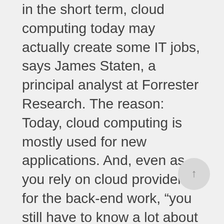in the short term, cloud computing today may actually create some IT jobs, says James Staten, a principal analyst at Forrester Research. The reason: Today, cloud computing is mostly used for new applications. And, even as you rely on cloud providers for the back-end work, “you still have to know a lot about this infrastructure; you just don’t have to manage it yourself,” he says. “Some percentage of the jobs actually performing infrastructure services, monitoring, and datacenter operations in-house will shift to cloud service providers like Google, Amazon, and the telcos,” says Mark McDonald, Gartner’s group vice president of executive programs. But there won’t be much growth in these infrastructure jobs at the cloud providers, he notes, due to the economies of scale that come from